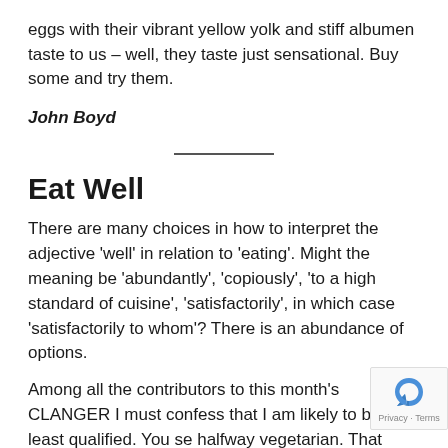eggs with their vibrant yellow yolk and stiff albumen taste to us – well, they taste just sensational. Buy some and try them.
John Boyd
———
Eat Well
There are many choices in how to interpret the adjective 'well' in relation to 'eating'. Might the meaning be 'abundantly', 'copiously', 'to a high standard of cuisine', 'satisfactorily', in which case 'satisfactorily to whom'? There is an abundance of options.
Among all the contributors to this month's CLANGER I must confess that I am likely to be the least qualified. You se halfway vegetarian. That needs an explanation. My mo is not religious, so I could eat pork or beef or poultry, no...